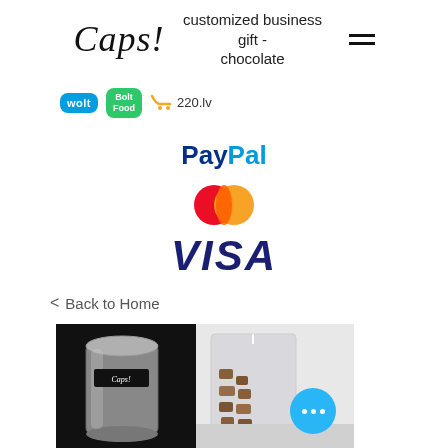Caps! customized business gift - chocolate
[Figure (logo): Partner/delivery logos: Wolt, Bolt Food, 220.lv]
[Figure (logo): PayPal payment logo]
[Figure (logo): Mastercard payment logo - two overlapping circles red and orange]
[Figure (logo): VISA payment logo in dark blue italic bold text]
< Back to Home
[Figure (photo): Product photo: a silver cylindrical tin with a Caps! label next to a clear bag of chocolate pieces on a white background]